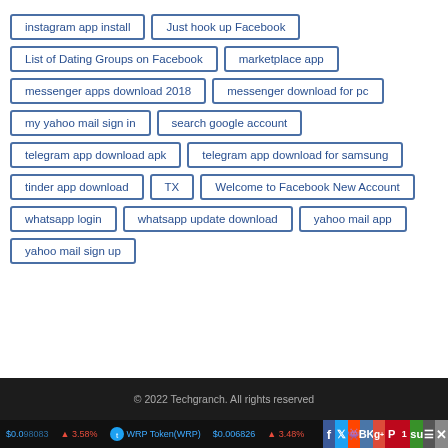instagram app install
Just hook up Facebook
List of Dating Groups on Facebook
marketplace app
messenger apps download 2018
messenger download for pc
my yahoo mail sign in
search google account
telegram app download apk
telegram app download for samsung
tinder app download
TX
Welcome to Facebook New Account
whatsapp login
whatsapp update download
yahoo mail app
yahoo mail sign up
© 2022 Techgranch. All rights reserved
$0.098083 ▲ 3.58% WRP Token(WRP) $0.006826 ▲ 3.48%